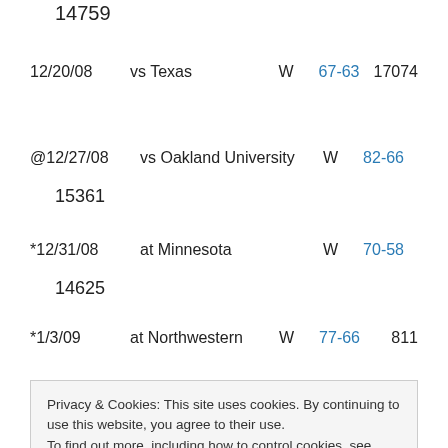14759
| Date | Opponent | W/L | Score | Attendance |
| --- | --- | --- | --- | --- |
| 12/20/08 | vs Texas | W | 67-63 | 17074 |
| @12/27/08 | vs Oakland University | W | 82-66 | 15361 |
| *12/31/08 | at Minnesota | W | 70-58 | 14625 |
| *1/3/09 | at Northwestern | W | 77-66 | 811 |
| *01/06/09 | OHIO STATE | W | 67-58 |  |
| *1/17/09 | ILLINOIS | W | 63-57 | 14759 |
Privacy & Cookies: This site uses cookies. By continuing to use this website, you agree to their use. To find out more, including how to control cookies, see here: Cookie Policy